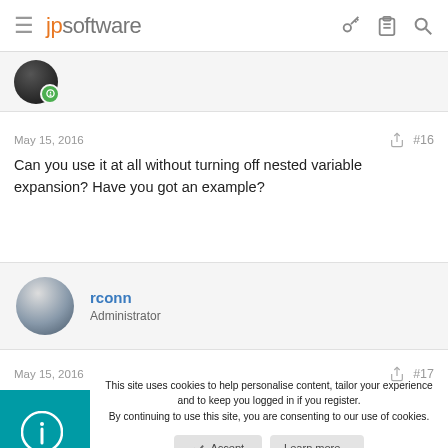jpsoftware
[Figure (photo): Partially visible user avatar with green badge icon]
May 15, 2016   #16
Can you use it at all without turning off nested variable expansion? Have you got an example?
rconn
Administrator
May 15, 2016   #17
This site uses cookies to help personalise content, tailor your experience and to keep you logged in if you register.
By continuing to use this site, you are consenting to our use of cookies.